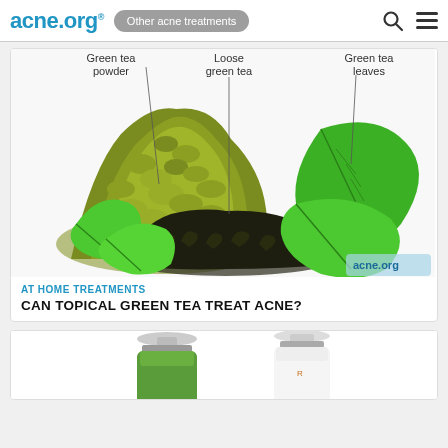acne.org® | Other acne treatments
[Figure (photo): Photo of green tea powder (olive-green mound), loose green tea (dark dried leaves), and bright green tea leaves arranged together on white background, with labels pointing to each: 'Green tea powder', 'Loose green tea', 'Green tea leaves'. acne.org watermark bottom right.]
AT HOME TREATMENTS
CAN TOPICAL GREEN TEA TREAT ACNE?
[Figure (photo): Partial view of supplement/medicine bottles — one green bottle and one orange/brown bottle with white caps, partially cropped at bottom of page.]